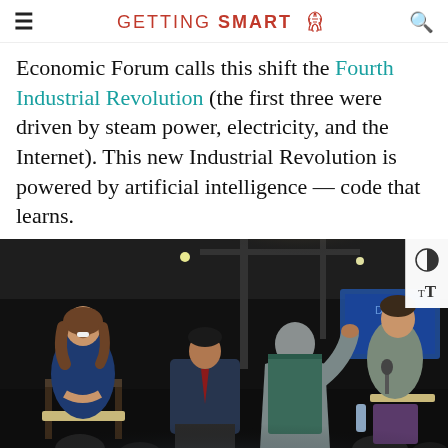≡   GETTING SMART 🌿   🔍
Economic Forum calls this shift the Fourth Industrial Revolution (the first three were driven by steam power, electricity, and the Internet). This new Industrial Revolution is powered by artificial intelligence — code that learns.
[Figure (photo): Panel discussion scene at a conference venue. Four people seated on stage in chairs, one person (back to camera, in blue/grey jacket) gesturing with raised hand, with a woman in blue blazer laughing on the left, a man in suit in the center, and a woman in grey cardigan on the right. Conference lighting with overhead spotlights, a presentation screen visible in background.]